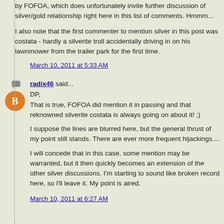by FOFOA, which does unfortunately invite further discussion of silver/gold relationship right here in this list of comments. Hmmm...
I also note that the first commenter to mention silver in this post was costata - hardly a silverite troll accidentally driving in on his lawnmower from the trailer park for the first time.
March 10, 2011 at 5:33 AM
radix46 said...
DP,
That is true, FOFOA did mention it in passing and that reknowned silverite costata is always going on about it! ;)
I suppose the lines are blurred here, but the general thrust of my point still stands. There are ever more frequent hijackings....
I will concede that in this case, some mention may be warranted, but it then quickly becomes an extension of the other silver discussions. I'm starting to sound like broken record here, so I'll leave it. My point is aired.
March 10, 2011 at 6:27 AM